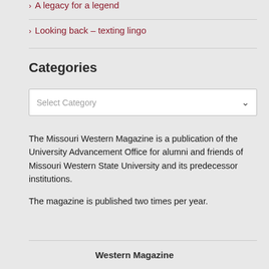A legacy for a legend
Looking back – texting lingo
Categories
[Figure (screenshot): A dropdown select box with placeholder text 'Select Category' and a chevron arrow on the right]
The Missouri Western Magazine is a publication of the University Advancement Office for alumni and friends of Missouri Western State University and its predecessor institutions.

The magazine is published two times per year.
Western Magazine